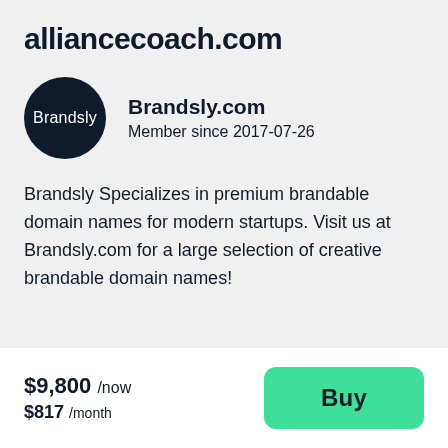alliancecoach.com
[Figure (logo): Brandsly circular black logo with white text]
Brandsly.com
Member since 2017-07-26
Brandsly Specializes in premium brandable domain names for modern startups. Visit us at Brandsly.com for a large selection of creative brandable domain names!
$9,800 /now
$817 /month
Buy